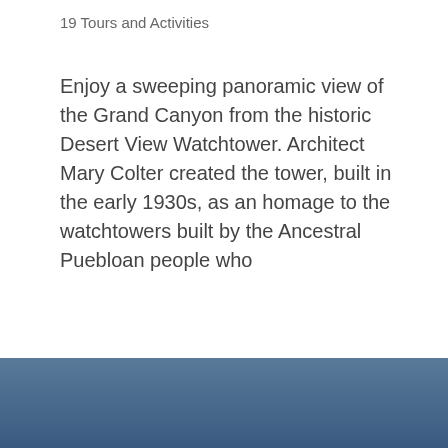19 Tours and Activities
Enjoy a sweeping panoramic view of the Grand Canyon from the historic Desert View Watchtower. Architect Mary Colter created the tower, built in the early 1930s, as an homage to the watchtowers built by the Ancestral Puebloan people who
Read More
Desert View Watchtower Tours & Tickets
[Figure (other): Dark blue gradient banner at the bottom of the page]